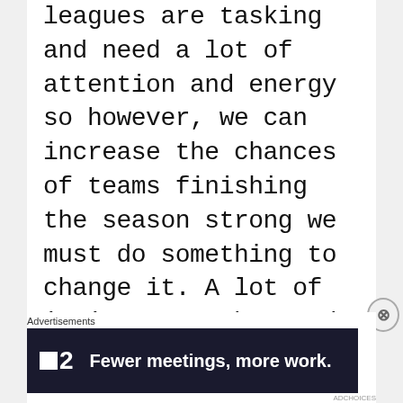leagues are tasking and need a lot of attention and energy so however, we can increase the chances of teams finishing the season strong we must do something to change it. A lot of it is on coaches and making sure they use their subs, something Popovic hasn't done these past 2 years and the same results are showing. As for the Canadian Championship, we need to remove the 2 legs and just have one as scheduling is almost unfair for these teams with little depth to be
[Figure (other): Advertisement banner for an app or service. Dark navy background with a white square logo icon, bold number '2', and white bold text 'Fewer meetings, more work.']